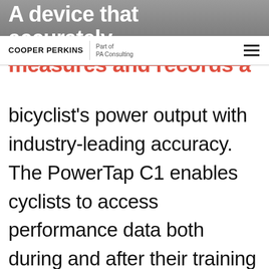[Figure (photo): Background photo of bicycle components, partially visible at top of page]
COOPER PERKINS | Part of PA Consulting
A device that accurately measures and records a bicyclist's power output with industry-leading accuracy. The PowerTap C1 enables cyclists to access performance data both during and after their training rides and leverage that information to improve their training.